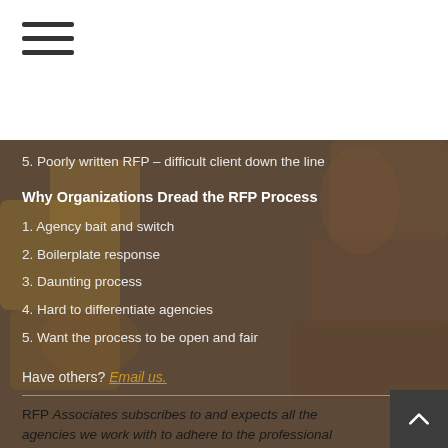[Figure (other): Hamburger menu icon with three horizontal lines]
5. Poorly written RFP – difficult client down the line
Why Organizations Dread the RFP Process
1. Agency bait and switch
2. Boilerplate response
3. Daunting process
4. Hard to differentiate agencies
5. Want the process to be open and fair
Have others? Email us.
RFP Associates subscribes to and expects all the agencies we work with to adhere to the professional ethics codes outlined by at least one of the